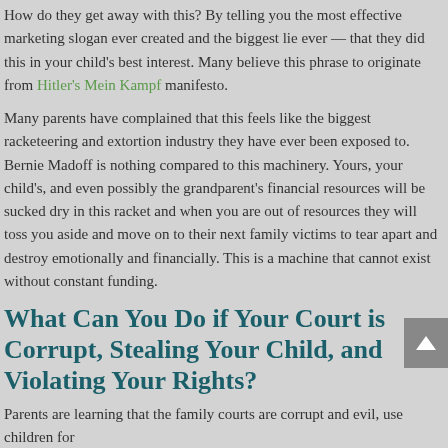How do they get away with this? By telling you the most effective marketing slogan ever created and the biggest lie ever — that they did this in your child's best interest. Many believe this phrase to originate from Hitler's Mein Kampf manifesto.
Many parents have complained that this feels like the biggest racketeering and extortion industry they have ever been exposed to. Bernie Madoff is nothing compared to this machinery. Yours, your child's, and even possibly the grandparent's financial resources will be sucked dry in this racket and when you are out of resources they will toss you aside and move on to their next family victims to tear apart and destroy emotionally and financially. This is a machine that cannot exist without constant funding.
What Can You Do if Your Court is Corrupt, Stealing Your Child, and Violating Your Rights?
Parents are learning that the family courts are corrupt and evil, use children for